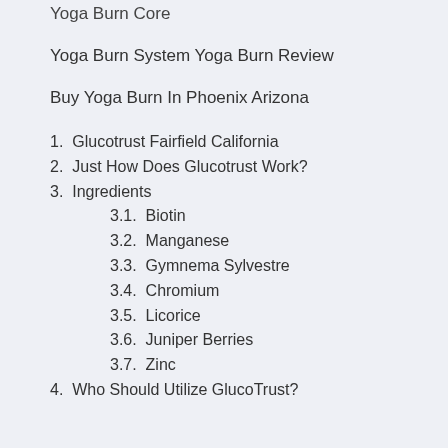Yoga Burn Core
Yoga Burn System Yoga Burn Review
Buy Yoga Burn In Phoenix Arizona
1. Glucotrust Fairfield California
2. Just How Does Glucotrust Work?
3. Ingredients
3.1. Biotin
3.2. Manganese
3.3. Gymnema Sylvestre
3.4. Chromium
3.5. Licorice
3.6. Juniper Berries
3.7. Zinc
4. Who Should Utilize GlucoTrust?